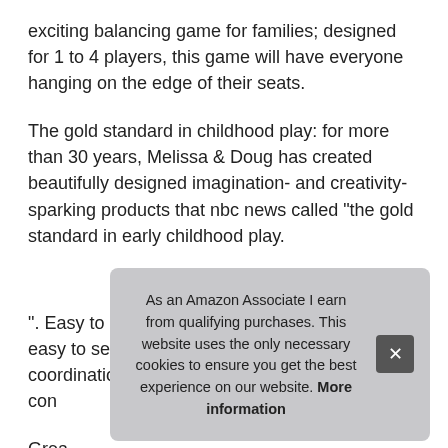exciting balancing game for families; designed for 1 to 4 players, this game will have everyone hanging on the edge of their seats.
The gold standard in childhood play: for more than 30 years, Melissa & Doug has created beautifully designed imagination- and creativity-sparking products that nbc news called “the gold standard in early childhood play.
More information #ad
“. Easy to play: our activity game for families is easy to set up and play; this hand eye coordination game includes 24 game rods con
Grea a gr
Classic Card Game Set for even more family game night fun
As an Amazon Associate I earn from qualifying purchases. This website uses the only necessary cookies to ensure you get the best experience on our website. More information